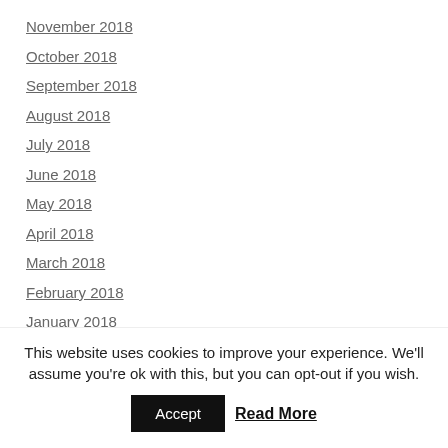November 2018
October 2018
September 2018
August 2018
July 2018
June 2018
May 2018
April 2018
March 2018
February 2018
January 2018
December 2017
November 2017
October 2017
September 2017
This website uses cookies to improve your experience. We'll assume you're ok with this, but you can opt-out if you wish. Accept Read More